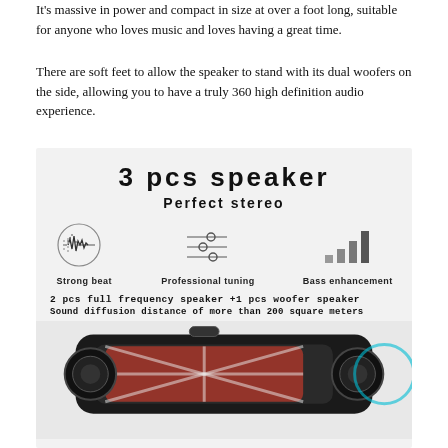It's massive in power and compact in size at over a foot long, suitable for anyone who loves music and loves having a great time.
There are soft feet to allow the speaker to stand with its dual woofers on the side, allowing you to have a truly 360 high definition audio experience.
[Figure (infographic): Product infographic showing '3 pcs speaker - Perfect stereo' with three icons: Strong beat (waveform in circle), Professional tuning (sliders), Bass enhancement (bar signal). Below: specs '2 pcs full frequency speaker +1 pcs woofer speaker' and 'Sound diffusion distance of more than 200 square meters'. Bottom shows photo of Bluetooth speaker.]